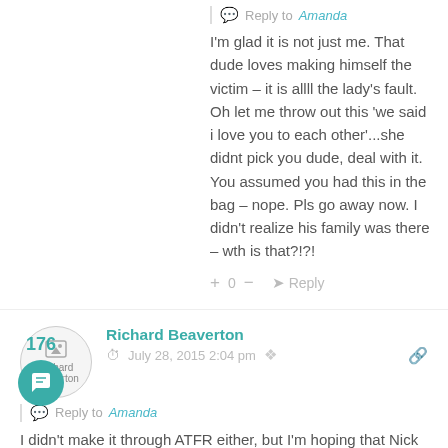Reply to Amanda
I'm glad it is not just me. That dude loves making himself the victim – it is allll the lady's fault. Oh let me throw out this 'we said i love you to each other'...she didnt pick you dude, deal with it. You assumed you had this in the bag – nope. Pls go away now. I didn't realize his family was there – wth is that?!?!
+ 0 – Reply
[Figure (photo): User avatar for Richard Beaverton with broken image icon]
Richard Beaverton
Richard Beaverton
July 28, 2015 2:04 pm
Reply to Amanda
I didn't make it through ATFR either, but I'm hoping that Nick and Shawn shared a moment. After all, they're eskimo...